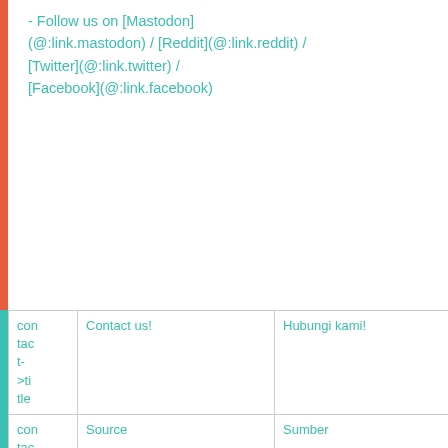- Follow us on [Mastodon](@:link.mastodon) / [Reddit](@:link.reddit) / [Twitter](@:link.twitter) / [Facebook](@:link.facebook)
|  | Contact us! | Hubungi kami! |
| --- | --- | --- |
| contact->title | Contact us! | Hubungi kami! |
| contact->source | Source | Sumber |
| foo | © [@:txt.soft](@:link.soft) | © [@:txt.soft](@:link.soft |